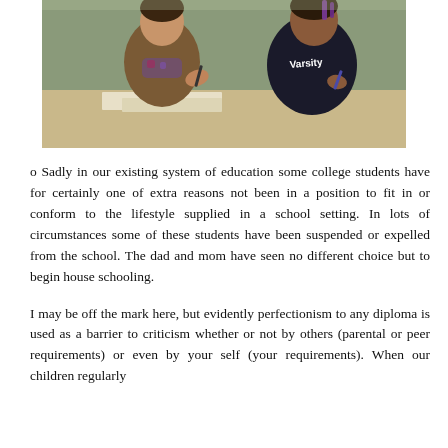[Figure (photo): Two people sitting at a table, one in a brown top with floral scarf gesturing with a pen, the other in a dark 'Varsity' hoodie also holding a pen, with papers on the table in front of them.]
o Sadly in our existing system of education some college students have for certainly one of extra reasons not been in a position to fit in or conform to the lifestyle supplied in a school setting. In lots of circumstances some of these students have been suspended or expelled from the school. The dad and mom have seen no different choice but to begin house schooling.
I may be off the mark here, but evidently perfectionism to any diploma is used as a barrier to criticism whether or not by others (parental or peer requirements) or even by your self (your requirements). When our children regularly